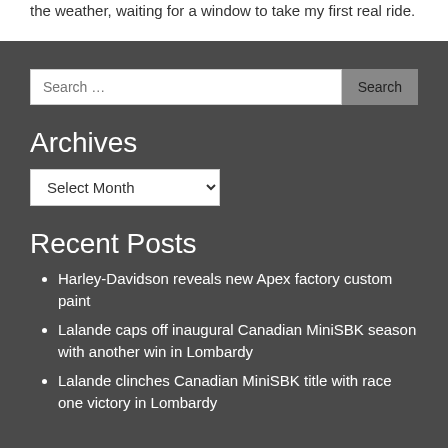the weather, waiting for a window to take my first real ride.
Archives
Recent Posts
Harley-Davidson reveals new Apex factory custom paint
Lalande caps off inaugural Canadian MiniSBK season with another win in Lombardy
Lalande clinches Canadian MiniSBK title with race one victory in Lombardy